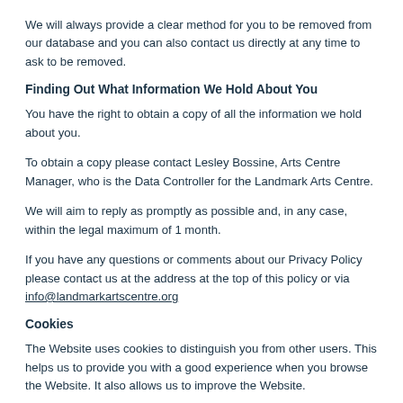We will always provide a clear method for you to be removed from our database and you can also contact us directly at any time to ask to be removed.
Finding Out What Information We Hold About You
You have the right to obtain a copy of all the information we hold about you.
To obtain a copy please contact Lesley Bossine, Arts Centre Manager, who is the Data Controller for the Landmark Arts Centre.
We will aim to reply as promptly as possible and, in any case, within the legal maximum of 1 month.
If you have any questions or comments about our Privacy Policy please contact us at the address at the top of this policy or via info@landmarkartscentre.org
Cookies
The Website uses cookies to distinguish you from other users. This helps us to provide you with a good experience when you browse the Website. It also allows us to improve the Website.
A cookie is a small file of letters and numbers that we store on your